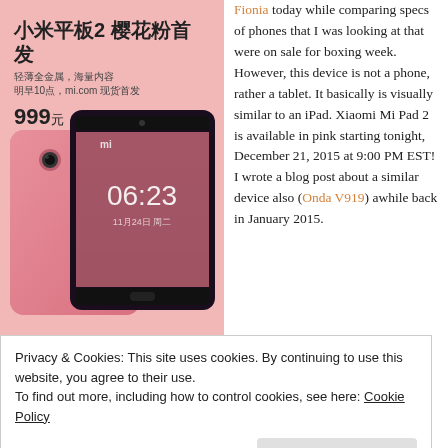[Figure (photo): Xiaomi Mi Pad 2 product promotional image with Chinese text, pink background, showing back and front of the pink tablet with price 999元]
specs of phones that I was looking at that were on sale for boxing week. However, this device is not a phone, rather a tablet. It basically is visually similar to an iPad. Xiaomi Mi Pad 2 is available in pink starting tonight, December 21, 2015 at 9:00 PM EST! I wrote a blog post about a similar device also (Onda V919) awhile back in January 2015.
The Xiaomi Mi Pad 2 has been
Privacy & Cookies: This site uses cookies. By continuing to use this website, you agree to their use.
To find out more, including how to control cookies, see here: Cookie Policy
Atom, Quad-core, 2200 MHz, X5-Z850, 64-bit, with Intel HD graphics